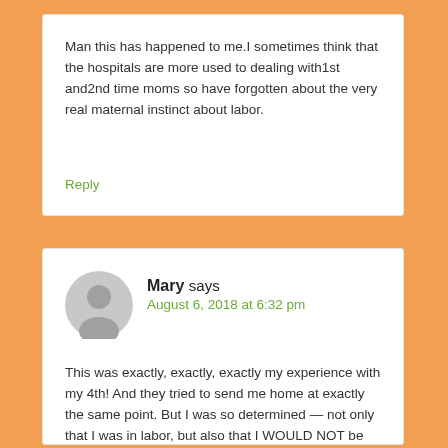Man this has happened to me.I sometimes think that the hospitals are more used to dealing with1st and2nd time moms so have forgotten about the very real maternal instinct about labor.
Reply
Mary says
August 6, 2018 at 6:32 pm
This was exactly, exactly, exactly my experience with my 4th! And they tried to send me home at exactly the same point. But I was so determined — not only that I was in labor, but also that I WOULD NOT be paying this hospital copay twice